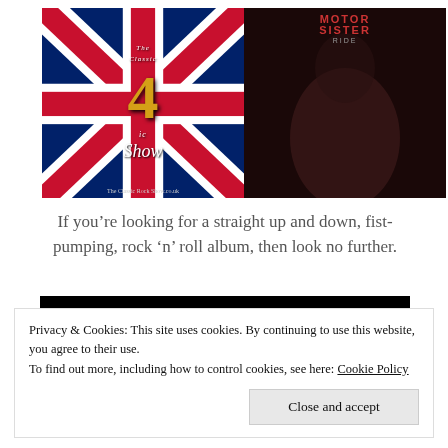[Figure (illustration): Two images side by side: left is The Classic Rock Show logo with Union Jack background and large golden '4' numeral; right is Motor Sister 'Ride' album cover showing a dark sepia-toned figure]
If you’re looking for a straight up and down, fist-pumping, rock ‘n’ roll album, then look no further.
[Figure (photo): Partial black bar / image beginning at bottom of visible area]
Privacy & Cookies: This site uses cookies. By continuing to use this website, you agree to their use.
To find out more, including how to control cookies, see here: Cookie Policy
Close and accept